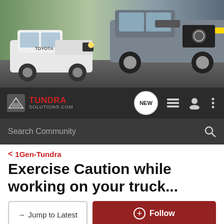[Figure (photo): Hero banner showing two Toyota Tundra trucks - white one on the left, dark silver one on the right, against a motion-blurred background]
[Figure (logo): TundraSolutions.com logo with truck icon, red TUNDRA text and gray SOLUTIONS.COM text on dark navbar]
Search Community
< 1Gen-Tundra
Exercise Caution while working on your truck...
→ Jump to Latest
+ Follow
Deal Alert: 50% off - Toyota Tundra Tonneau Cover